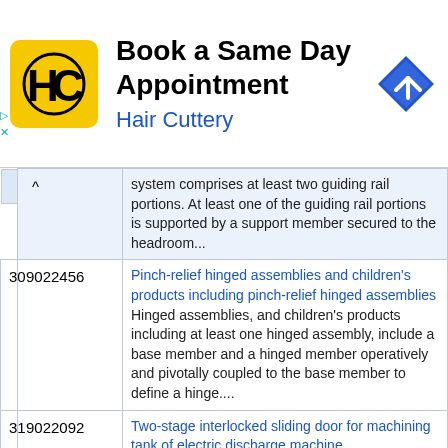[Figure (illustration): Hair Cuttery advertisement banner with logo (yellow square with HC letters), title 'Book a Same Day Appointment', subtitle 'Hair Cuttery', and a blue navigation/direction icon]
| # | Patent No. | Title / Abstract |
| --- | --- | --- |
|  |  | system comprises at least two guiding rail portions. At least one of the guiding rail portions is supported by a support member secured to the headroom... |
| 30 | 9022456 | Pinch-relief hinged assemblies and children's products including pinch-relief hinged assemblies
Hinged assemblies, and children's products including at least one hinged assembly, include a base member and a hinged member operatively and pivotally coupled to the base member to define a hinge.... |
| 31 | 9022092 | Two-stage interlocked sliding door for machining tank of electric discharge machine
A door for attachment on the front of a machining tank of an electric discharge machine includes a door frame and first and |